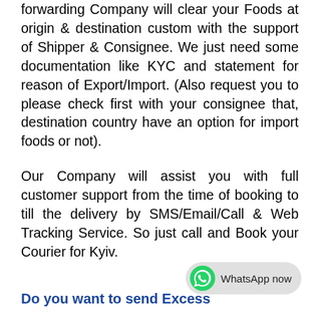forwarding Company will clear your Foods at origin & destination custom with the support of Shipper & Consignee. We just need some documentation like KYC and statement for reason of Export/Import. (Also request you to please check first with your consignee that, destination country have an option for import foods or not).
Our Company will assist you with full customer support from the time of booking to till the delivery by SMS/Email/Call & Web Tracking Service. So just call and Book your Courier for Kyiv.
Do you want to send Excess